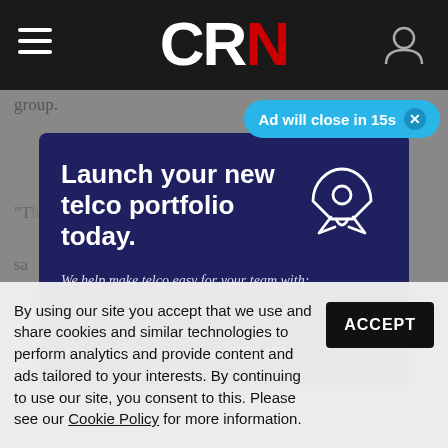CRN
group.
[Figure (infographic): Advertisement overlay on dark navy background: 'Launch your new telco portfolio today.' with rocket icon, bullet list: 'We help make telco easy for your team with: Feature packed turn-key telco solutions, Access to our Australian-based Team, Porting & Services via our REST API']
Ad will close in 15s
By using our site you accept that we use and share cookies and similar technologies to perform analytics and provide content and ads tailored to your interests. By continuing to use our site, you consent to this. Please see our Cookie Policy for more information.